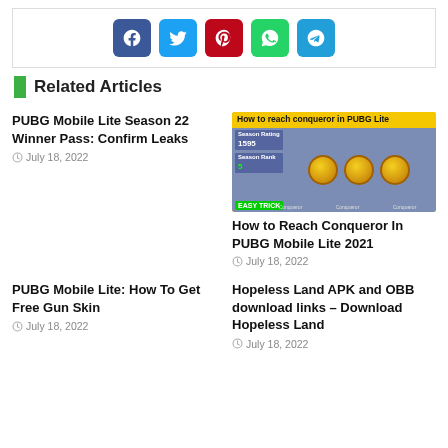[Figure (infographic): Social share buttons: Facebook (blue), Twitter (light blue), Pinterest (red), WhatsApp (green), Telegram (blue)]
Related Articles
PUBG Mobile Lite Season 22 Winner Pass: Confirm Leaks
July 18, 2022
[Figure (screenshot): PUBG Mobile Lite conqueror guide thumbnail with yellow header text 'How to reach conqueror in PUBG Lite', game stats panel on left, three gold conqueror medals in center, EASY TRICK label at bottom left]
How to Reach Conqueror In PUBG Mobile Lite 2021
July 18, 2022
PUBG Mobile Lite: How To Get Free Gun Skin
July 18, 2022
Hopeless Land APK and OBB download links – Download Hopeless Land
July 18, 2022